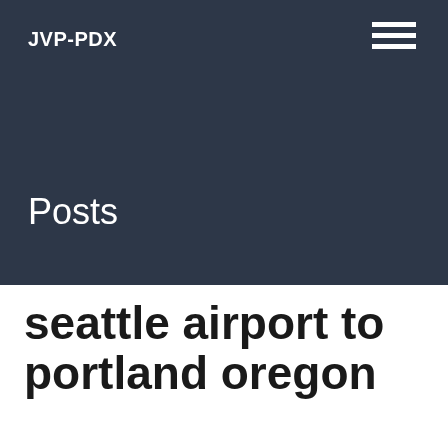JVP-PDX
Posts
seattle airport to portland oregon